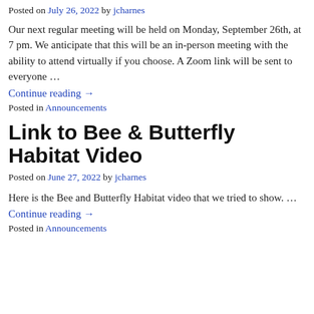Posted on July 26, 2022 by jcharnes
Our next regular meeting will be held on Monday, September 26th, at 7 pm. We anticipate that this will be an in-person meeting with the ability to attend virtually if you choose. A Zoom link will be sent to everyone …
Continue reading →
Posted in Announcements
Link to Bee & Butterfly Habitat Video
Posted on June 27, 2022 by jcharnes
Here is the Bee and Butterfly Habitat video that we tried to show.   …
Continue reading →
Posted in Announcements